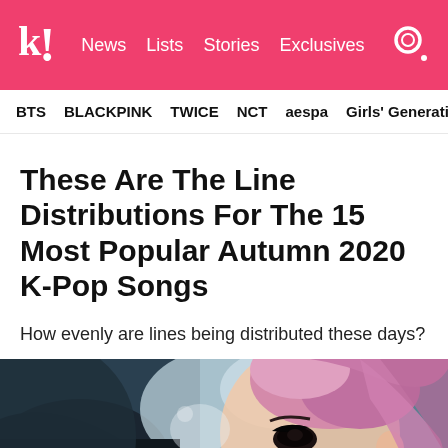k! News Lists Stories Exclusives
BTS BLACKPINK TWICE NCT aespa Girls' Generation
These Are The Line Distributions For The 15 Most Popular Autumn 2020 K-Pop Songs
How evenly are lines being distributed these days?
[Figure (photo): Close-up photo of a young woman with pink-purple hair and dramatic eye makeup, partially obscured, with a dark artistic background]